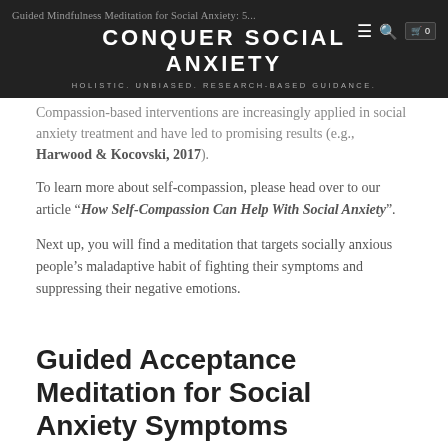CONQUER SOCIAL ANXIETY
HOLISTIC. UNBIASED. RESEARCH-BASED GUIDANCE.
Compassion-based interventions are increasingly applied in social anxiety treatment and have led to promising results (e.g., Harwood & Kocovski, 2017).
To learn more about self-compassion, please head over to our article “How Self-Compassion Can Help With Social Anxiety”.
Next up, you will find a meditation that targets socially anxious people’s maladaptive habit of fighting their symptoms and suppressing their negative emotions.
Guided Acceptance Meditation for Social Anxiety Symptoms